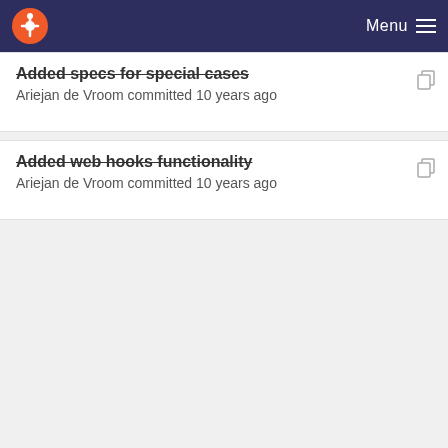Menu
Added specs for special cases
Ariejan de Vroom committed 10 years ago
Added web hooks functionality
Ariejan de Vroom committed 10 years ago